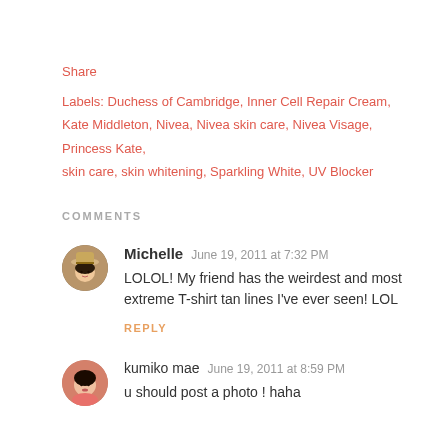Share
Labels: Duchess of Cambridge, Inner Cell Repair Cream, Kate Middleton, Nivea, Nivea skin care, Nivea Visage, Princess Kate, skin care, skin whitening, Sparkling White, UV Blocker
COMMENTS
Michelle  June 19, 2011 at 7:32 PM
LOLOL! My friend has the weirdest and most extreme T-shirt tan lines I've ever seen! LOL
REPLY
kumiko mae  June 19, 2011 at 8:59 PM
u should post a photo ! haha